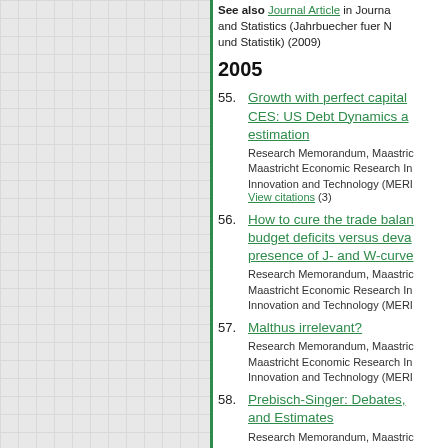See also Journal Article in Journal and Statistics (Jahrbuecher fuer N und Statistik) (2009)
2005
55. Growth with perfect capital CES: US Debt Dynamics and estimation — Research Memorandum, Maastricht Economic Research Innovation and Technology (MERI) — View citations (3)
56. How to cure the trade balance budget deficits versus devaluation presence of J- and W-curves — Research Memorandum, Maastricht Economic Research Innovation and Technology (MERI)
57. Malthus irrelevant? — Research Memorandum, Maastricht Economic Research Innovation and Technology (MERI)
58. Prebisch-Singer: Debates, and Estimates — Research Memorandum, Maastricht Economic Research Innovation and Technology (MERI)